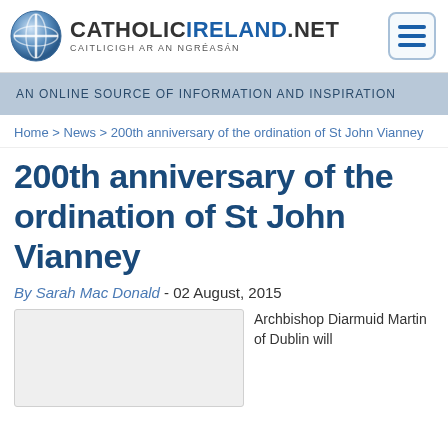CATHOLICIRELAND.NET – CAITLICIGH AR AN NGRÉASÁN
AN ONLINE SOURCE OF INFORMATION AND INSPIRATION
Home > News > 200th anniversary of the ordination of St John Vianney
200th anniversary of the ordination of St John Vianney
By Sarah Mac Donald - 02 August, 2015
[Figure (photo): Image placeholder area for article photo]
Archbishop Diarmuid Martin of Dublin will